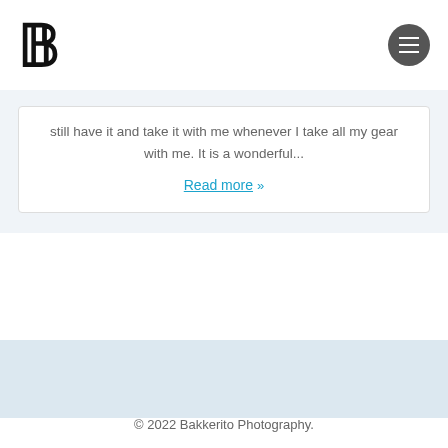b [logo] / menu button
still have it and take it with me whenever I take all my gear with me. It is a wonderful...
Read more »
© 2022 Bakkerito Photography.